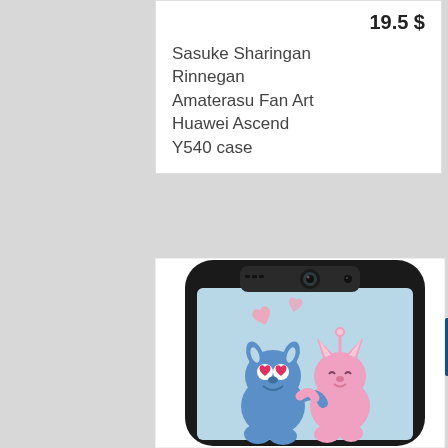19.5 $
Sasuke Sharingan Rinnegan Amaterasu Fan Art Huawei Ascend Y540 case
[Figure (photo): Phone case product image showing a Samsung/Android phone case with a light blue background featuring cartoon characters Stitch (blue) and Angel (pink) from Lilo & Stitch hugging, with pink hearts above them. The case has a black border/frame. A dark blue tab is visible on the right edge.]